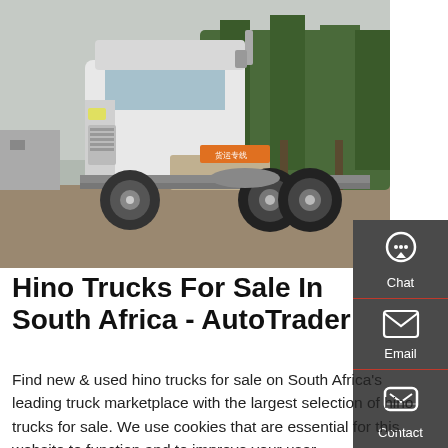[Figure (photo): White Hino semi-truck / tractor unit parked in a lot with trees in background]
Hino Trucks For Sale In South Africa - AutoTrader
Find new & used hino trucks for sale on South Africa's leading truck marketplace with the largest selection of hino trucks for sale. We use cookies that are essential for this website to function and to improve your user